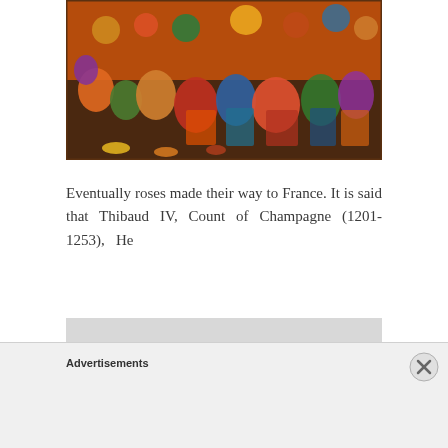[Figure (illustration): A colorful Persian or Mughal-style miniature painting showing a festive gathering with many figures in traditional dress, musicians, dancers, and food. Rich colors including orange, blue, green, yellow, and red.]
Eventually roses made their way to France. It is said that Thibaud IV, Count of Champagne (1201-1253), He
[Figure (illustration): Partial view of a circular decorative plate or medallion with engraved or embossed design, shown in grayscale/silver.]
Advertisements